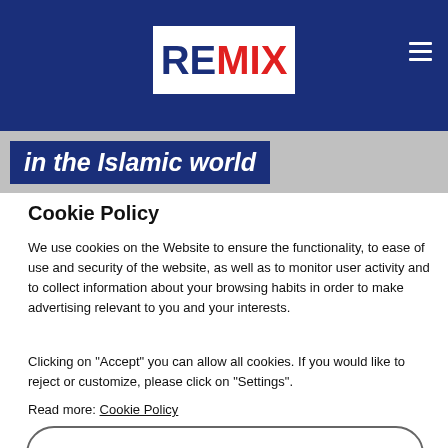REMIX
in the Islamic world
Cookie Policy
We use cookies on the Website to ensure the functionality, to ease of use and security of the website, as well as to monitor user activity and to collect information about your browsing habits in order to make advertising relevant to you and your interests.
Clicking on "Accept" you can allow all cookies. If you would like to reject or customize, please click on "Settings".
Read more: Cookie Policy
SETTINGS
ACCEPT